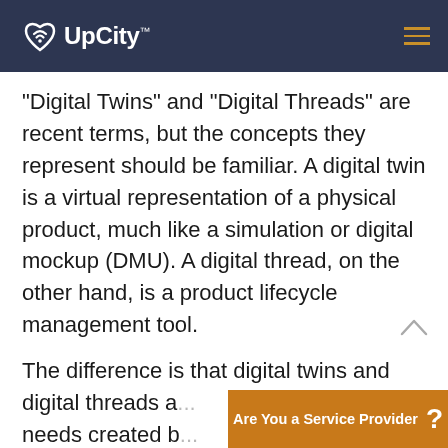UpCity™
“Digital Twins” and “Digital Threads” are recent terms, but the concepts they represent should be familiar. A digital twin is a virtual representation of a physical product, much like a simulation or digital mockup (DMU). A digital thread, on the other hand, is a product lifecycle management tool.
The difference is that digital twins and digital threads a... needs created b...
Are You a Service Provider ?